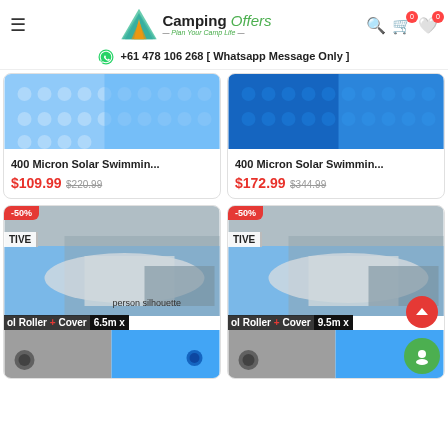Camping Offers - Plan Your Camp Life
+61 478 106 268 [ Whatsapp Message Only ]
[Figure (photo): Product image of 400 Micron Solar Swimming pool cover (bubble wrap texture, blue)]
400 Micron Solar Swimmin... $109.99 $220.99
[Figure (photo): Product image of 400 Micron Solar Swimming pool cover (bubble wrap texture, dark blue)]
400 Micron Solar Swimmin... $172.99 $344.99
[Figure (photo): Pool roller and cover product image, 6.5m x, woman rolling pool cover, -50% badge]
[Figure (photo): Pool roller and cover product image, 9.5m x, woman rolling pool cover, -50% badge]